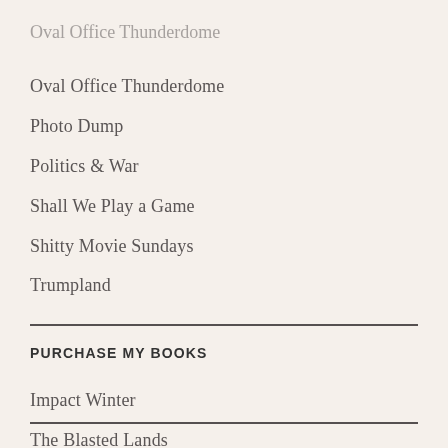Oval Office Thunderdome
Photo Dump
Politics & War
Shall We Play a Game
Shitty Movie Sundays
Trumpland
PURCHASE MY BOOKS
Impact Winter
The Blasted Lands